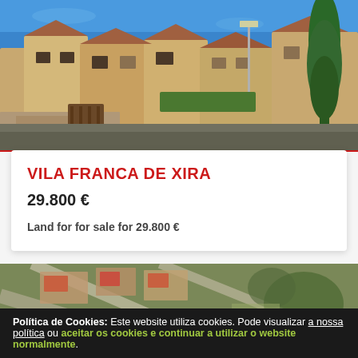[Figure (photo): Street-level photo of beige/ochre residential houses with terracotta roofs, stone walls, wooden gates, a tall cypress tree on the right, and a blue sky background in Vila Franca de Xira, Portugal]
VILA FRANCA DE XIRA
29.800 €
Land for for sale for 29.800 €
[Figure (photo): Aerial/satellite view of a residential neighborhood with streets, houses with terracotta roofs, and undeveloped land in Vila Franca de Xira]
Política de Cookies: Este website utiliza cookies. Pode visualizar a nossa política ou aceitar os cookies e continuar a utilizar o website normalmente.